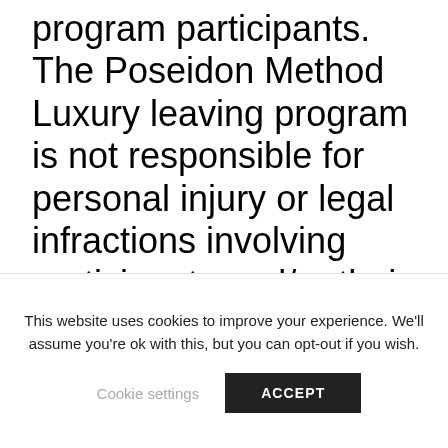program participants. The Poseidon Method Luxury leaving program is not responsible for personal injury or legal infractions involving participants and/or their visitors.
This Agreement shall be governed by and construed in
This website uses cookies to improve your experience. We'll assume you're ok with this, but you can opt-out if you wish.